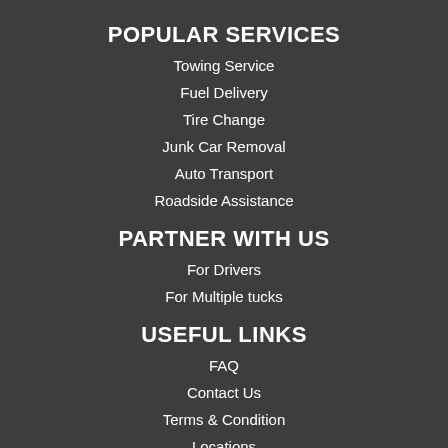POPULAR SERVICES
Towing Service
Fuel Delivery
Tire Change
Junk Car Removal
Auto Transport
Roadside Assistance
PARTNER WITH US
For Drivers
For Multiple tucks
USEFUL LINKS
FAQ
Contact Us
Terms & Condition
Locations